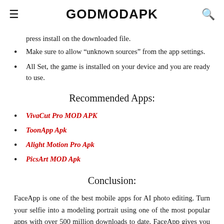GODMODAPK
press install on the downloaded file.
Make sure to allow “unknown sources” from the app settings.
All Set, the game is installed on your device and you are ready to use.
Recommended Apps:
VivaCut Pro MOD APK
ToonApp Apk
Alight Motion Pro Apk
PicsArt MOD Apk
Conclusion:
FaceApp is one of the best mobile apps for AI photo editing. Turn your selfie into a modeling portrait using one of the most popular apps with over 500 million downloads to date. FaceApp gives you everything you need to create